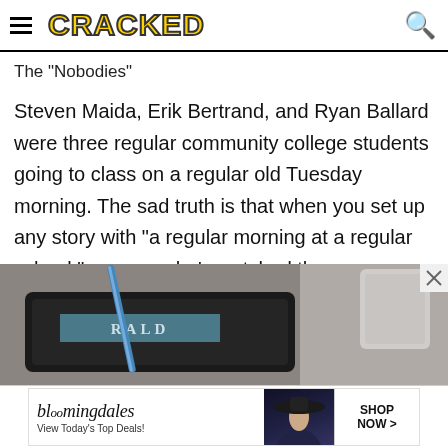CRACKED
The "Nobodies"
Steven Maida, Erik Bertrand, and Ryan Ballard were three regular community college students going to class on a regular old Tuesday morning. The sad truth is that when you set up any story with "a regular morning at a regular school," anyone who's watched the news can fill in what's going to happen next.
[Figure (photo): Photo of a tablet device on a desk with a pen and coffee mug, showing partial text on screen]
[Figure (photo): Bloomingdale's advertisement banner: 'View Today's Top Deals! SHOP NOW >']